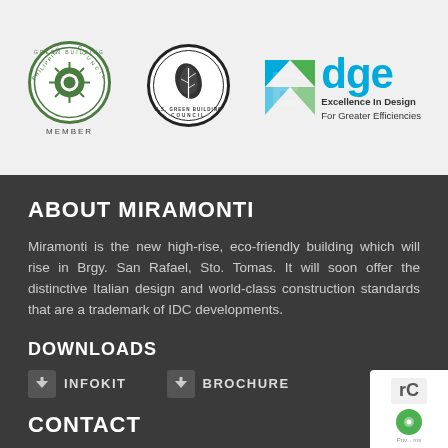[Figure (logo): Philippine Green Building Council circular badge logo with 'MEMBER' text below]
[Figure (logo): U.S. Green Building Council circular badge logo]
[Figure (logo): EDGE logo: Excellence In Design For Greater Efficiencies with blue/green diamond icon]
ABOUT MIRAMONTI
Miramonti is the new high-rise, eco-friendly building which will rise in Brgy. San Rafael, Sto. Tomas. It will soon offer the distinctive Italian design and world-class construction standards that are a trademark of IDC developments.
DOWNLOADS
INFOKIT
BROCHURE
CONTACT